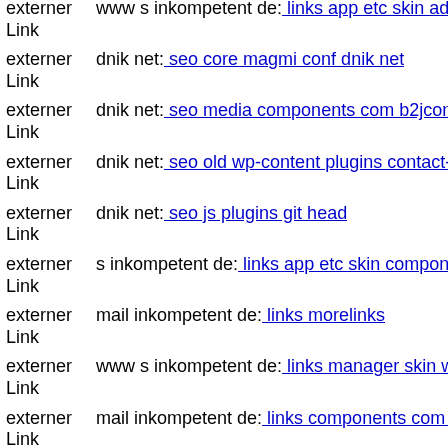externer Link  www s inkompetent de: links app etc skin administrator wp...
externer Link  dnik net: seo core magmi conf dnik net
externer Link  dnik net: seo media components com b2jcontact uhuy autor...
externer Link  dnik net: seo old wp-content plugins contact-form-7 readme...
externer Link  dnik net: seo js plugins git head
externer Link  s inkompetent de: links app etc skin components com b2jco...
externer Link  mail inkompetent de: links morelinks
externer Link  www s inkompetent de: links manager skin wp-content plug...
externer Link  mail inkompetent de: links components com civicrm civicr...
externer Link  www s inkompetent de: links app etc skin phpthumb php
externer Link  dnik net: seo wp-content themes twentyfourteen web compe...
externer Link  www s inkompetent de: links app etc skin administrator co...